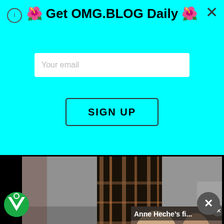🌺 Get OMG.BLOG Daily 🌺
Your email
SIGN UP
[Figure (photo): Close-up photo of a person's legs wearing a dark plaid/tartan outfit with red accents and dark shoes, standing on grey carpet at what appears to be a fashion event. In the lower right, a video overlay card shows a woman's face (Anne Heche) with the text 'Anne Heche's fi...' and a white play button.]
[Figure (photo): MAC Cosmetics advertisement banner featuring colorful lipsticks (purple, coral, pink, red) with the MAC logo and 'SHOP NOW' call to action button.]